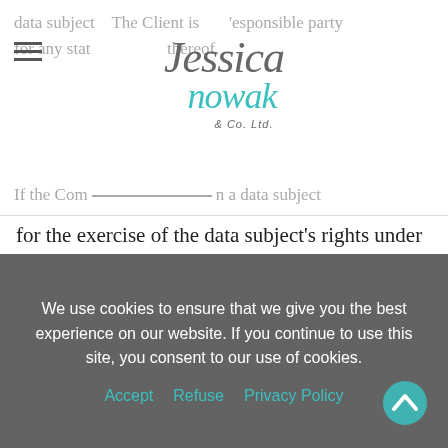data subject  The Client is responsible party for any stat  thereof.
If the Company receives a request from a data subject for the exercise of the data subject's rights under the Applicable Law and such request is related to the Personal Data of the Client, the Company must immediately forward the request to the Client and the request will then be dealt with by the Client.  The Company will refrain from responding to the person directly.
The Company shall, at the Client's cost, provide
We use cookies to ensure that we give you the best experience on our website. If you continue to use this site, you consent to our use of cookies.
Accept  Refuse  Privacy Policy